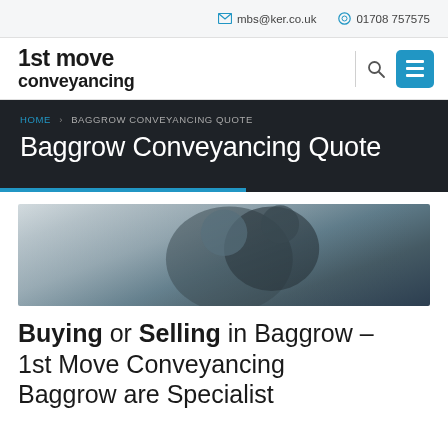mbs@ker.co.uk  01708 757575
[Figure (logo): 1st move conveyancing logo in bold black text]
HOME > BAGGROW CONVEYANCING QUOTE
Baggrow Conveyancing Quote
[Figure (photo): Two people looking at documents together, professional setting]
Buying or Selling in Baggrow – 1st Move Conveyancing Baggrow are Specialist